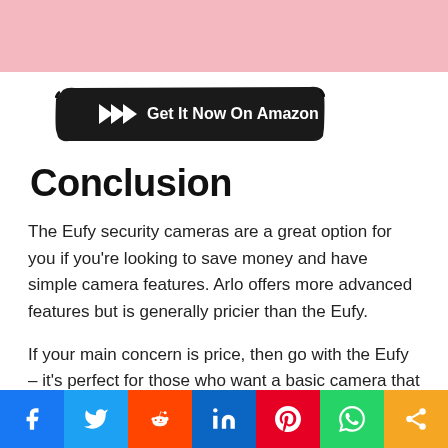[Figure (other): Pink decorative bar at top of page]
[Figure (other): Black brush-stroke button with chevron arrows reading 'Get It Now On Amazon']
Conclusion
The Eufy security cameras are a great option for you if you're looking to save money and have simple camera features. Arlo offers more advanced features but is generally pricier than the Eufy.
If your main concern is price, then go with the Eufy – it's perfect for those who want a basic camera that won't break the bank.
[Figure (infographic): Social media sharing bar with Facebook, Twitter, Reddit, LinkedIn, Pinterest, WhatsApp, and Share buttons]